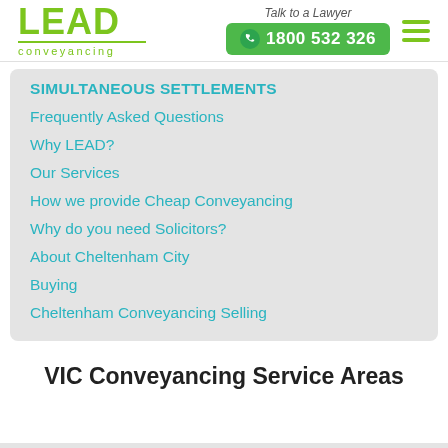[Figure (logo): LEAD conveyancing logo in green with underline]
Talk to a Lawyer
1800 532 326
SIMULTANEOUS SETTLEMENTS
Frequently Asked Questions
Why LEAD?
Our Services
How we provide Cheap Conveyancing
Why do you need Solicitors?
About Cheltenham City
Buying
Cheltenham Conveyancing Selling
VIC Conveyancing Service Areas